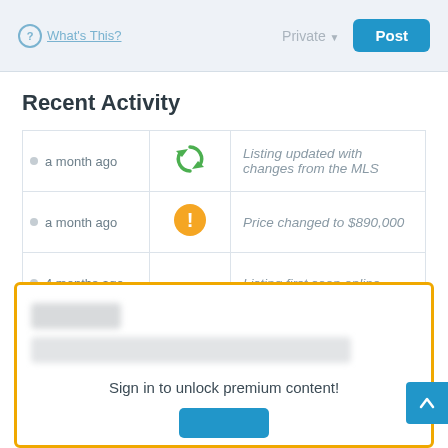What's This?   Private   Post
Recent Activity
| Time | Icon | Description |
| --- | --- | --- |
| a month ago | [refresh icon] | Listing updated with changes from the MLS |
| a month ago | [alert icon] | Price changed to $890,000 |
| 4 months ago | [upload icon] | Listing first seen online |
Sign in to unlock premium content!